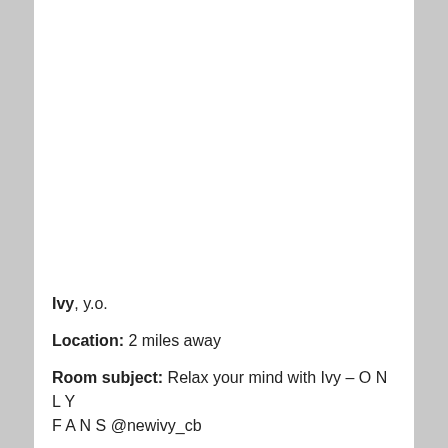Ivy, y.o.
Location: 2 miles away
Room subject: Relax your mind with Ivy – O N L Y F A N S @newivy_cb